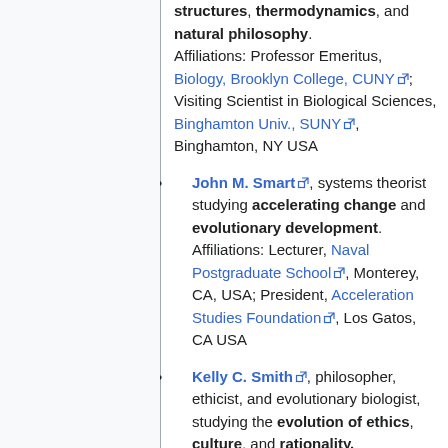structures, thermodynamics, and natural philosophy. Affiliations: Professor Emeritus, Biology, Brooklyn College, CUNY; Visiting Scientist in Biological Sciences, Binghamton Univ., SUNY, Binghamton, NY USA
John M. Smart, systems theorist studying accelerating change and evolutionary development. Affiliations: Lecturer, Naval Postgraduate School, Monterey, CA, USA; President, Acceleration Studies Foundation, Los Gatos, CA USA
Kelly C. Smith, philosopher, ethicist, and evolutionary biologist, studying the evolution of ethics, culture, and rationality. Affiliations: Assoc. Prof., Philosophy